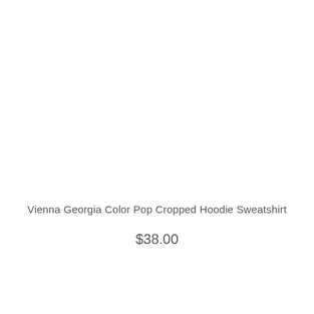Vienna Georgia Color Pop Cropped Hoodie Sweatshirt
$38.00